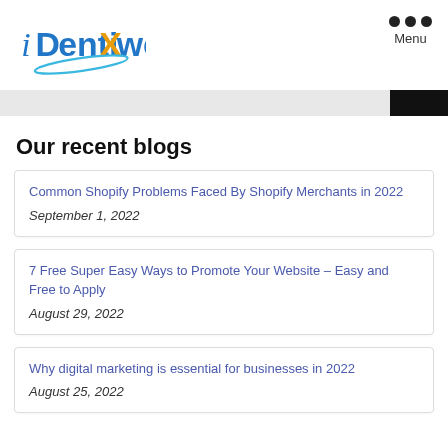[Figure (logo): iDentixweb logo with blue and orange lettering and a blue swoosh]
Menu
Our recent blogs
Common Shopify Problems Faced By Shopify Merchants in 2022  September 1, 2022
7 Free Super Easy Ways to Promote Your Website – Easy and Free to Apply  August 29, 2022
Why digital marketing is essential for businesses in 2022  August 25, 2022